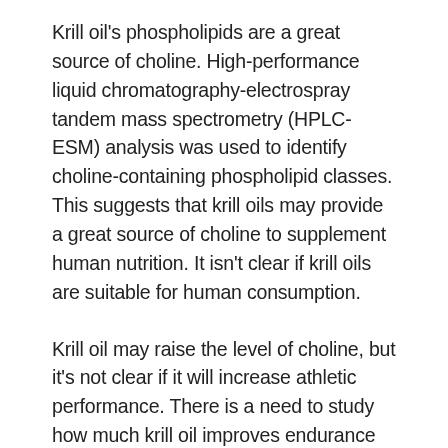Krill oil's phospholipids are a great source of choline. High-performance liquid chromatography-electrospray tandem mass spectrometry (HPLC-ESM) analysis was used to identify choline-containing phospholipid classes. This suggests that krill oils may provide a great source of choline to supplement human nutrition. It isn't clear if krill oils are suitable for human consumption.
Krill oil may raise the level of choline, but it's not clear if it will increase athletic performance. There is a need to study how much krill oil improves endurance and cognitive function in athletes. These results will allow for further research to be conducted on the effects of krill oil on endurance sports. All raw data will become available for free. If you're looking for an